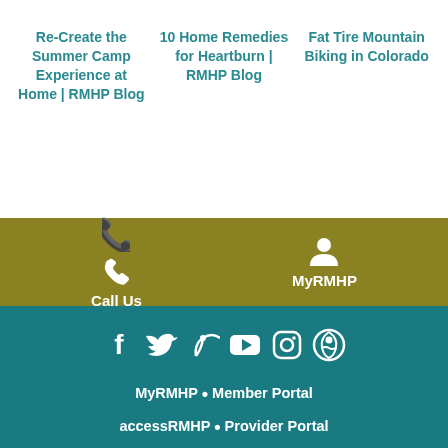Re-Create the Summer Camp Experience at Home | RMHP Blog
10 Home Remedies for Heartburn | RMHP Blog
Fat Tire Mountain Biking in Colorado
Call Us
MyRMHP
[Figure (infographic): Social media icons: Facebook, Twitter, Vine/RSS, YouTube, Instagram, Pinterest]
MyRMHP • Member Portal
accessRMHP • Provider Portal
OptumRx • Pharmacy Portal